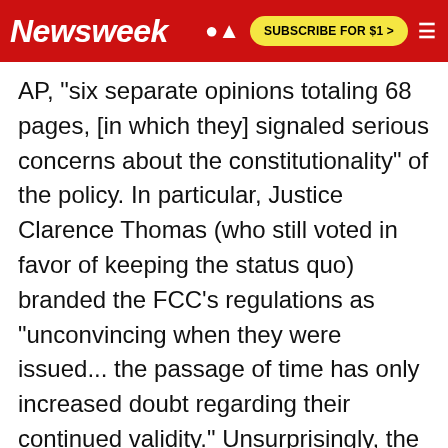Newsweek | SUBSCRIBE FOR $1 >
AP, "six separate opinions totaling 68 pages, [in which they] signaled serious concerns about the constitutionality" of the policy. In particular, Justice Clarence Thomas (who still voted in favor of keeping the status quo) branded the FCC's regulations as "unconvincing when they were issued... the passage of time has only increased doubt regarding their continued validity." Unsurprisingly, the vote to ultimately stand pat was divvied along ideological lines.